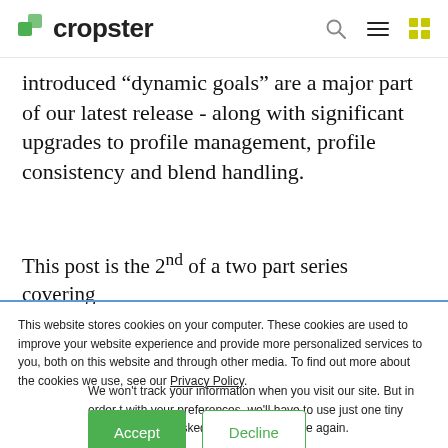cropster
introduced “dynamic goals” are a major part of our latest release - along with significant upgrades to profile management, profile consistency and blend handling.
This post is the 2nd of a two part series covering
This website stores cookies on your computer. These cookies are used to improve your website experience and provide more personalized services to you, both on this website and through other media. To find out more about the cookies we use, see our Privacy Policy.
We won't track your information when you visit our site. But in order to with your preferences, we'll have to use just one tiny cookie so that y asked to make this choice again.